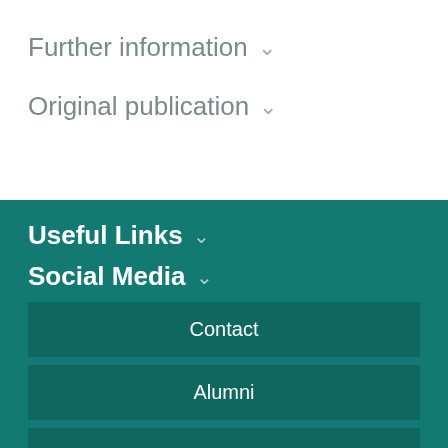Further information ∨
Original publication ∨
Useful Links ∨
Social Media ∨
Contact
Alumni
Events